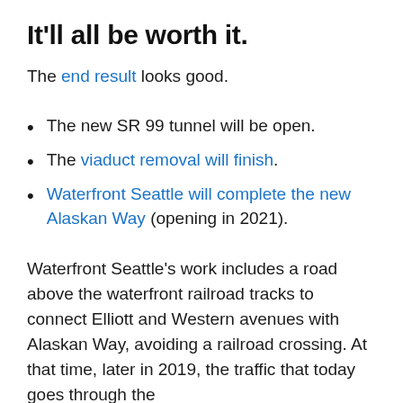It'll all be worth it.
The end result looks good.
The new SR 99 tunnel will be open.
The viaduct removal will finish.
Waterfront Seattle will complete the new Alaskan Way (opening in 2021).
Waterfront Seattle's work includes a road above the waterfront railroad tracks to connect Elliott and Western avenues with Alaskan Way, avoiding a railroad crossing. At that time, later in 2019, the traffic that today goes through the...